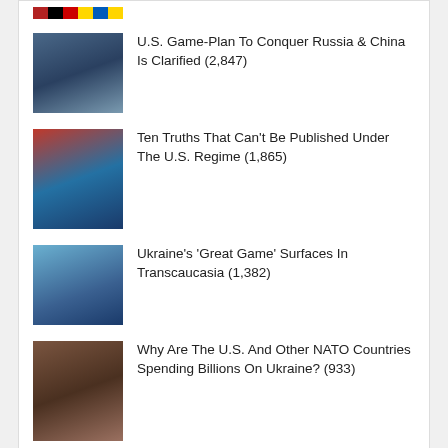[Figure (photo): Small flag thumbnails at top of card]
U.S. Game-Plan To Conquer Russia & China Is Clarified (2,847)
Ten Truths That Can't Be Published Under The U.S. Regime (1,865)
Ukraine's 'Great Game' Surfaces In Transcaucasia (1,382)
Why Are The U.S. And Other NATO Countries Spending Billions On Ukraine? (933)
Authors